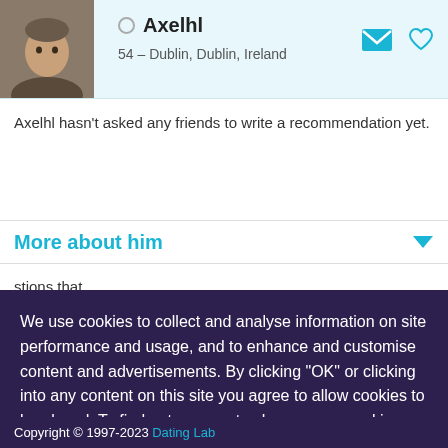[Figure (photo): Profile photo of a middle-aged man]
Axelhl
54 – Dublin, Dublin, Ireland
Axelhl hasn't asked any friends to write a recommendation yet.
More about him
stions that
We use cookies to collect and analyse information on site performance and usage, and to enhance and customise content and advertisements. By clicking "OK" or clicking into any content on this site you agree to allow cookies to be placed. To find out more or to change your cookie settings, visit the cookies section of our Privacy Policy.
OK
Copyright © 1997-2023 Dating Lab